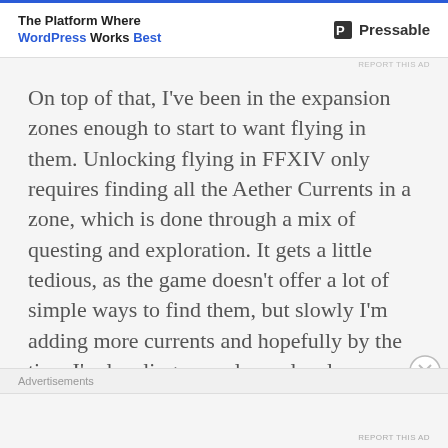[Figure (other): Advertisement banner: 'The Platform Where WordPress Works Best' with Pressable logo]
REPORT THIS AD
On top of that, I've been in the expansion zones enough to start to want flying in them. Unlocking flying in FFXIV only requires finding all the Aether Currents in a zone, which is done through a mix of questing and exploration. It gets a little tedious, as the game doesn't offer a lot of simple ways to find them, but slowly I'm adding more currents and hopefully by the time I'm leveling some lower level
Advertisements
REPORT THIS AD